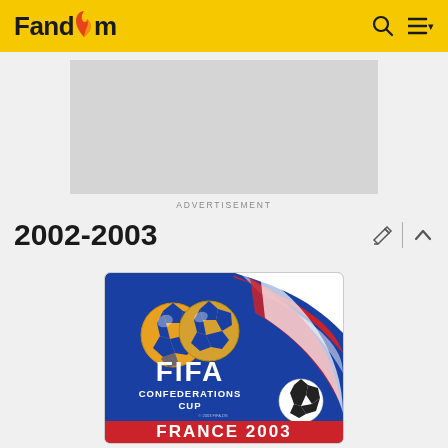Fandom
[Figure (other): Advertisement placeholder - grey rectangle]
ADVERTISEMENT
2002-2003
[Figure (logo): FIFA Confederations Cup France 2003 official logo on blue background with two soccer balls, red/white swoosh, and red banner reading FRANCE 2003]